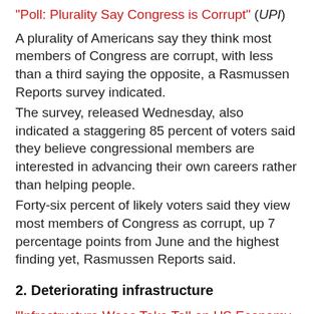"Poll: Plurality Say Congress is Corrupt" (UPI)
A plurality of Americans say they think most members of Congress are corrupt, with less than a third saying the opposite, a Rasmussen Reports survey indicated.
The survey, released Wednesday, also indicated a staggering 85 percent of voters said they believe congressional members are interested in advancing their own careers rather than helping people.
Forty-six percent of likely voters said they view most members of Congress as corrupt, up 7 percentage points from June and the highest finding yet, Rasmussen Reports said.
2. Deteriorating infrastructure
"Infrastructure Woes Take Toll on US Economy-Engineers" (Reuters)
Failing infrastructure will cost the United States billions of dollars in lost productivity, income and